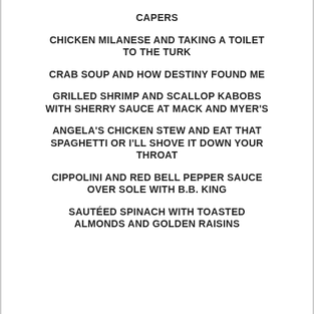CAPERS
CHICKEN MILANESE AND TAKING A TOILET TO THE TURK
CRAB SOUP AND HOW DESTINY FOUND ME
GRILLED SHRIMP AND SCALLOP KABOBS WITH SHERRY SAUCE AT MACK AND MYER'S
ANGELA'S CHICKEN STEW AND EAT THAT SPAGHETTI OR I'LL SHOVE IT DOWN YOUR THROAT
CIPPOLINI AND RED BELL PEPPER SAUCE OVER SOLE WITH B.B. KING
SAUTÉED SPINACH WITH TOASTED ALMONDS AND GOLDEN RAISINS